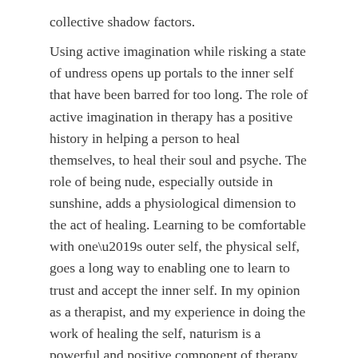collective shadow factors.
Using active imagination while risking a state of undress opens up portals to the inner self that have been barred for too long. The role of active imagination in therapy has a positive history in helping a person to heal themselves, to heal their soul and psyche. The role of being nude, especially outside in sunshine, adds a physiological dimension to the act of healing. Learning to be comfortable with one’s outer self, the physical self, goes a long way to enabling one to learn to trust and accept the inner self. In my opinion as a therapist, and my experience in doing the work of healing the self, naturism is a powerful and positive component of therapy.
Share this:
Twitter   Facebook